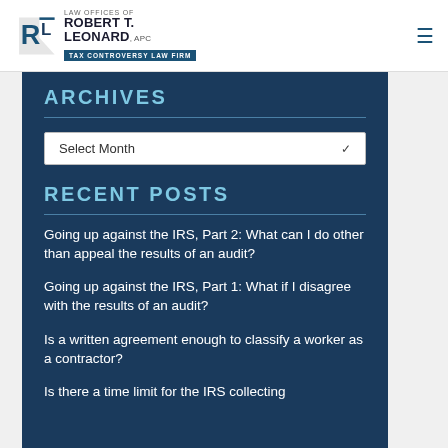LAW OFFICES OF ROBERT T. LEONARD, APC — TAX CONTROVERSY LAW FIRM
ARCHIVES
[Figure (other): Dropdown selector for Archives with label 'Select Month']
RECENT POSTS
Going up against the IRS, Part 2: What can I do other than appeal the results of an audit?
Going up against the IRS, Part 1: What if I disagree with the results of an audit?
Is a written agreement enough to classify a worker as a contractor?
Is there a time limit for the IRS collecting